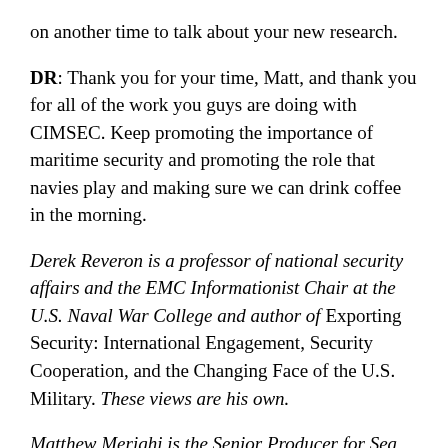on another time to talk about your new research.
DR: Thank you for your time, Matt, and thank you for all of the work you guys are doing with CIMSEC. Keep promoting the importance of maritime security and promoting the role that navies play and making sure we can drink coffee in the morning.
Derek Reveron is a professor of national security affairs and the EMC Informationist Chair at the U.S. Naval War College and author of Exporting Security: International Engagement, Security Cooperation, and the Changing Face of the U.S. Military. These views are his own.
Matthew Merighi is the Senior Producer for Sea Control.